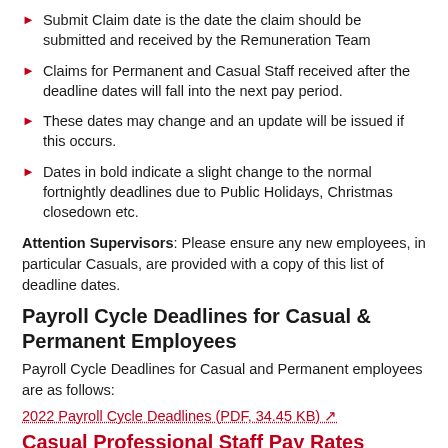Submit Claim date is the date the claim should be submitted and received by the Remuneration Team
Claims for Permanent and Casual Staff received after the deadline dates will fall into the next pay period.
These dates may change and an update will be issued if this occurs.
Dates in bold indicate a slight change to the normal fortnightly deadlines due to Public Holidays, Christmas closedown etc.
Attention Supervisors: Please ensure any new employees, in particular Casuals, are provided with a copy of this list of deadline dates.
Payroll Cycle Deadlines for Casual & Permanent Employees
Payroll Cycle Deadlines for Casual and Permanent employees are as follows:
2022 Payroll Cycle Deadlines (PDF, 34.45 KB)
Casual Professional Staff Pay Rates